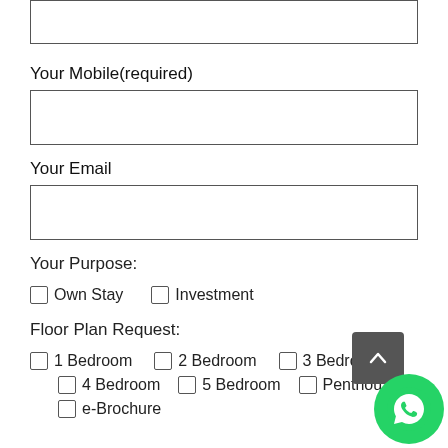Your Mobile(required)
Your Email
Your Purpose:
Own Stay
Investment
Floor Plan Request:
1 Bedroom
2 Bedroom
3 Bedroom
4 Bedroom
5 Bedroom
Penthouse
e-Brochure